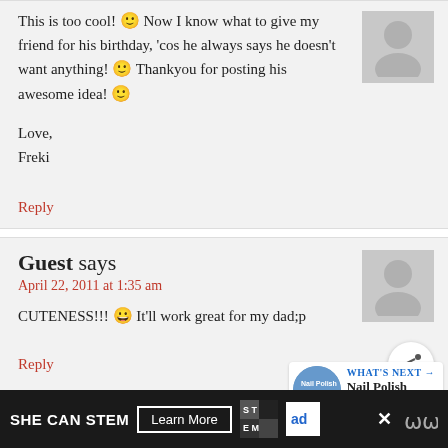This is too cool! 🙂 Now I know what to give my friend for his birthday, 'cos he always says he doesn't want anything! 🙂 Thankyou for posting his awesome idea! 🙂
Love,
Freki
Reply
Guest says
April 22, 2011 at 1:35 am
CUTENESS!!! 😀 It'll work great for my dad;p
Reply
Crafty7777777 says
WHAT'S NEXT → Nail Polish Seashells
SHE CAN STEM  Learn More